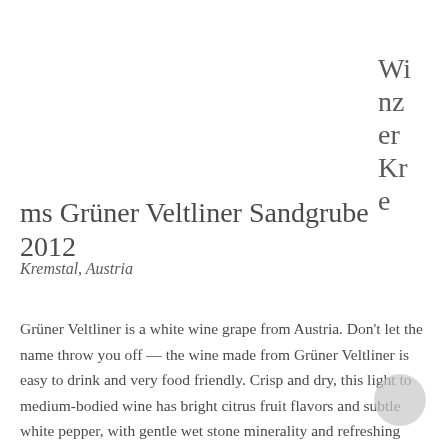Winzer Krems Grüner Veltliner Sandgrube 2012
Kremstal, Austria
Grüner Veltliner is a white wine grape from Austria. Don't let the name throw you off — the wine made from Grüner Veltliner is easy to drink and very food friendly. Crisp and dry, this light to medium-bodied wine has bright citrus fruit flavors and subtle white pepper, with gentle wet stone minerality and refreshing acidity. A touch of spice lingers on the finish. Extremely versatile, Grüner Veltliner can pair